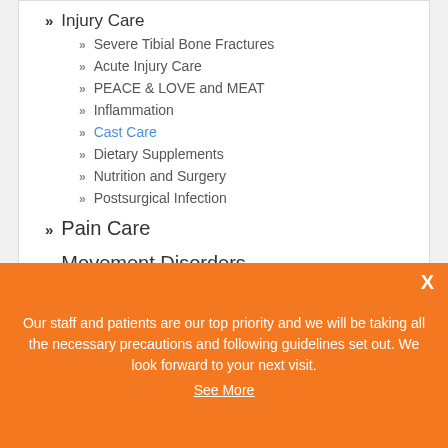» Injury Care
» Severe Tibial Bone Fractures
» Acute Injury Care
» PEACE & LOVE and MEAT
» Inflammation
» Cast Care
» Dietary Supplements
» Nutrition and Surgery
» Postsurgical Infection
» Pain Care
» Movement Disorders
Our staff and patients are our top priority and we will be taking all the necessary precautions and following guidelines set out. We look forward to your next visit. See More